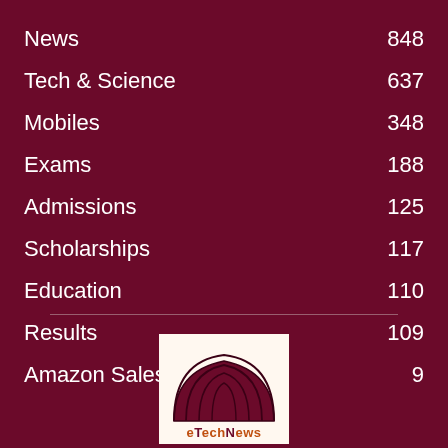News  848
Tech & Science  637
Mobiles  348
Exams  188
Admissions  125
Scholarships  117
Education  110
Results  109
Amazon Sales  9
[Figure (logo): eTechNews logo with dome/arch graphic in dark red and white background]